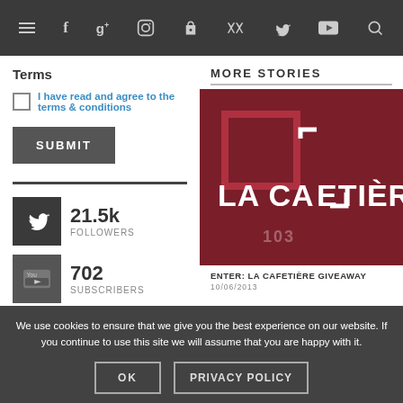≡ f g+ ◎ ℗ )))  🐦 YouTube 🔍
Terms
I have read and agree to the terms & conditions
SUBMIT
MORE STORIES
[Figure (photo): LA CAFETIÈRE logo/brand image on dark red background]
21.5k FOLLOWERS
702 SUBSCRIBERS
ENTER: LA CAFETIÈRE GIVEAWAY
10/06/2013
We use cookies to ensure that we give you the best experience on our website. If you continue to use this site we will assume that you are happy with it.
OK
PRIVACY POLICY